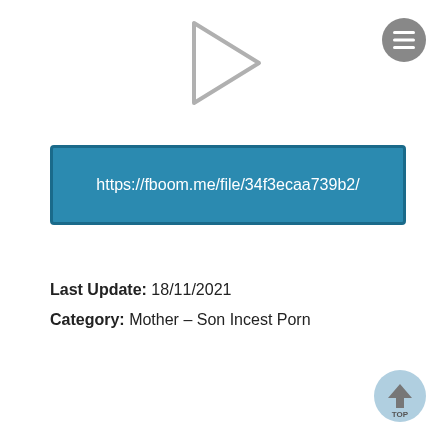[Figure (screenshot): Play button triangle icon centered at top of page]
[Figure (screenshot): Hamburger menu icon in gray circle, top right]
https://fboom.me/file/34f3ecaa739b2/
Last Update: 18/11/2021
Category: Mother – Son Incest Porn
[Figure (screenshot): TOP scroll-to-top button, light blue circle, bottom right]